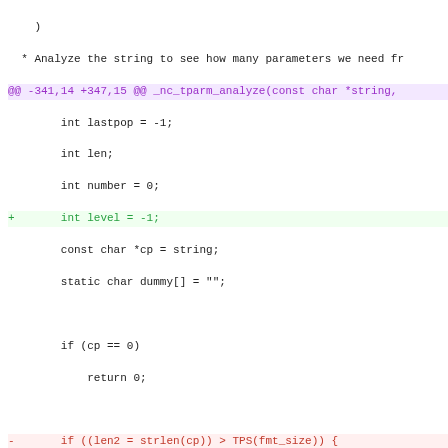[Figure (screenshot): A code diff screenshot showing changes to a C source file, with removed lines in red, added lines in green, hunk headers in purple, and highlighted spans indicating specific changed tokens.]